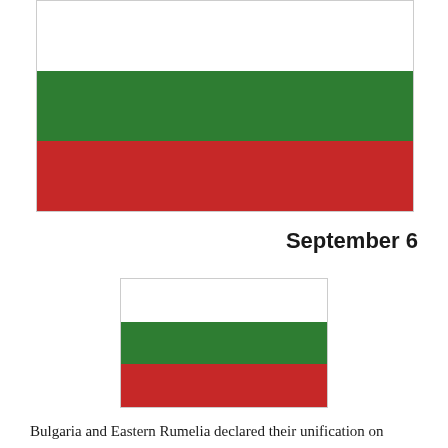[Figure (illustration): Large Bulgarian flag (white, green, red horizontal stripes) with border]
September 6
[Figure (illustration): Smaller Bulgarian flag (white, green, red horizontal stripes) with border]
Bulgaria and Eastern Rumelia declared their unification on September 6, 1885. Unfortunately, no one outside of